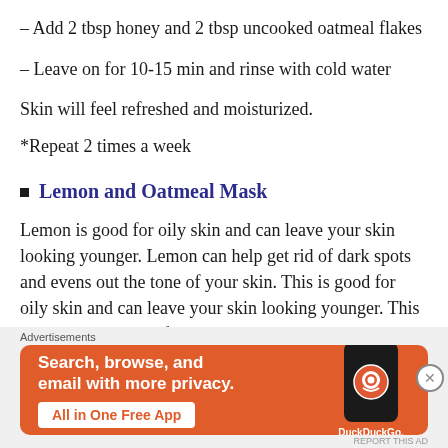– Add 2 tbsp honey and 2 tbsp uncooked oatmeal flakes
– Leave on for 10-15 min and rinse with cold water
Skin will feel refreshed and moisturized.
*Repeat 2 times a week
Lemon and Oatmeal Mask
Lemon is good for oily skin and can leave your skin looking younger. Lemon can help get rid of dark spots and evens out the tone of your skin. This is good for oily skin and can leave your skin looking younger. This mask also gets rid of dark spots due to the lemon and
[Figure (screenshot): DuckDuckGo advertisement banner: orange background with text 'Search, browse, and email with more privacy. All in One Free App' and DuckDuckGo logo on a phone mockup]